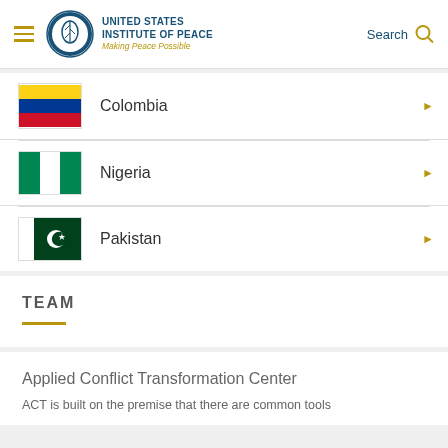United States Institute of Peace — Making Peace Possible — Search
Colombia
Nigeria
Pakistan
TEAM
Applied Conflict Transformation Center
ACT is built on the premise that there are common tools